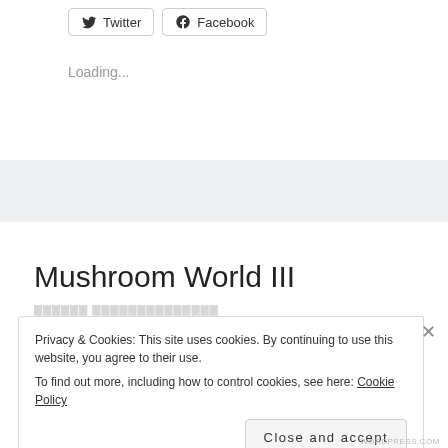[Figure (other): Social share buttons: Twitter and Facebook]
Loading...
Mushroom World III
Privacy & Cookies: This site uses cookies. By continuing to use this website, you agree to their use.
To find out more, including how to control cookies, see here: Cookie Policy
Close and accept
WORDPRESS.COM